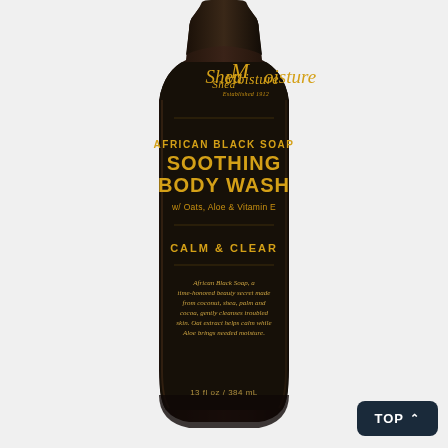[Figure (photo): SheaMoisture African Black Soap Soothing Body Wash bottle (13 fl oz / 384 mL). Dark brown/black bottle with gold and white text. Label reads: SheaMoisture Established 1912, AFRICAN BLACK SOAP SOOTHING BODY WASH w/ Oats, Aloe & Vitamin E, CALM & CLEAR, description text about African Black Soap. Bottom shows 13 fl oz / 384 mL.]
TOP ^